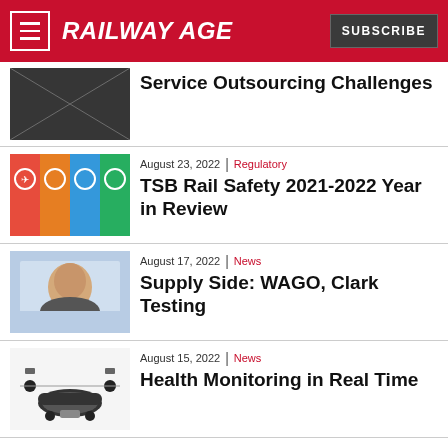RAILWAY AGE | SUBSCRIBE
Service Outsourcing Challenges
August 23, 2022 | Regulatory
TSB Rail Safety 2021-2022 Year in Review
August 17, 2022 | News
Supply Side: WAGO, Clark Testing
August 15, 2022 | News
Health Monitoring in Real Time